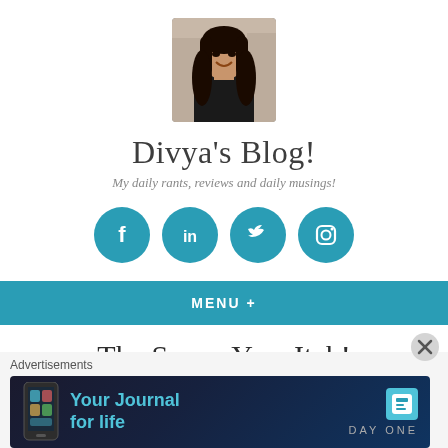[Figure (photo): Profile photo of a woman with dark hair smiling, wearing a black top, in a restaurant/cafe setting]
Divya's Blog!
My daily rants, reviews and daily musings!
[Figure (infographic): Four teal circular social media icons: Facebook, LinkedIn, Twitter, Instagram]
MENU +
The Seven Year Itch!
Advertisements
[Figure (infographic): Advertisement banner for Day One app - Your Journal for life, showing a phone and the Day One logo on dark background]